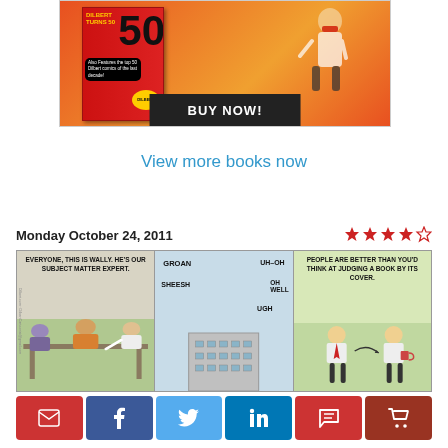[Figure (illustration): Dilbert Turns 50 book advertisement with orange and red background, cartoon character, and BUY NOW button]
View more books now
Monday October 24, 2011
[Figure (illustration): 4-star rating (4 out of 5 stars filled)]
[Figure (illustration): Dilbert comic strip for Monday October 24, 2011. Panel 1: 'EVERYONE, THIS IS WALLY. HE'S OUR SUBJECT MATTER EXPERT.' Panel 2: Building with words GROAN, UH-OH, SHEESH, OH WELL, UGH floating around it. Panel 3: 'PEOPLE ARE BETTER THAN YOU'D THINK AT JUDGING A BOOK BY ITS COVER.']
[Figure (infographic): Social sharing buttons: email (red), Facebook (blue), Twitter (light blue), LinkedIn (dark blue), comment (red), shopping cart (dark red)]